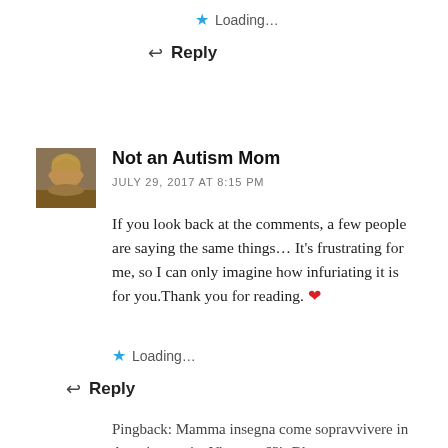★ Loading…
↩ Reply
[Figure (photo): Avatar photo of commenter Not an Autism Mom – a woman with blonde hair]
Not an Autism Mom
JULY 29, 2017 AT 8:15 PM
If you look back at the comments, a few people are saying the same things… It's frustrating for me, so I can only imagine how infuriating it is for you.Thank you for reading. ❤
★ Loading…
↩ Reply
Pingback: Mamma insegna come sopravvivere in America oggi « Vincenza63's Blog